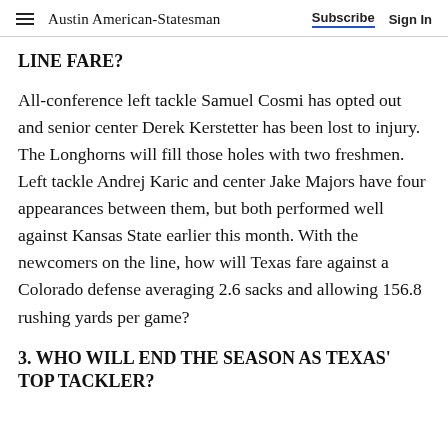Austin American-Statesman  Subscribe  Sign In
LINE FARE?
All-conference left tackle Samuel Cosmi has opted out and senior center Derek Kerstetter has been lost to injury. The Longhorns will fill those holes with two freshmen. Left tackle Andrej Karic and center Jake Majors have four appearances between them, but both performed well against Kansas State earlier this month. With the newcomers on the line, how will Texas fare against a Colorado defense averaging 2.6 sacks and allowing 156.8 rushing yards per game?
3. WHO WILL END THE SEASON AS TEXAS' TOP TACKLER?